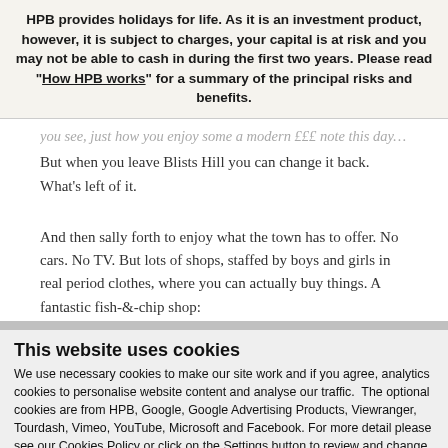HPB provides holidays for life. As it is an investment product, however, it is subject to charges, your capital is at risk and you may not be able to cash in during the first two years. Please read "How HPB works" for a summary of the principal risks and benefits.
you see, just how you enjoy some a modern £££ note this day, you...
But when you leave Blists Hill you can change it back. What's left of it.
And then sally forth to enjoy what the town has to offer. No cars. No TV. But lots of shops, staffed by boys and girls in real period clothes, where you can actually buy things. A fantastic fish-&-chip shop:
This website uses cookies
We use necessary cookies to make our site work and if you agree, analytics cookies to personalise website content and analyse our traffic.  The optional cookies are from HPB, Google, Google Advertising Products, Viewranger, Tourdash, Vimeo, YouTube, Microsoft and Facebook. For more detail please see our Cookies Policy or click on the Settings button to review and change your preferences.